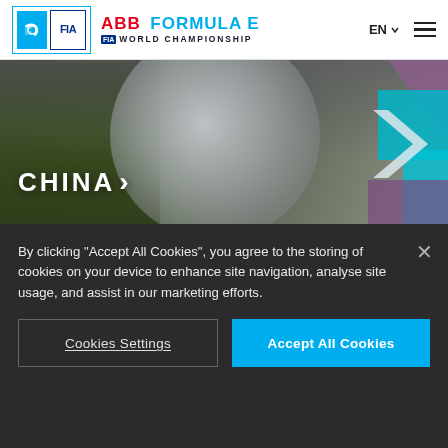ABB FORMULA E FIA WORLD CHAMPIONSHIP — EN navigation header
[Figure (photo): Banner image for China with dark nature background, circular mirror overlays, geometric arrow decorations in teal and purple on right side, and bold white text 'CHINA >' overlaid]
[Figure (photo): Banner image for Europe with highland landscape background, stone arch bridge, circular overlays, geometric arrow decorations in teal and purple on right side, and bold white text 'EUROPE >' overlaid]
By clicking “Accept All Cookies”, you agree to the storing of cookies on your device to enhance site navigation, analyse site usage, and assist in our marketing efforts.
Cookies Settings
Accept All Cookies